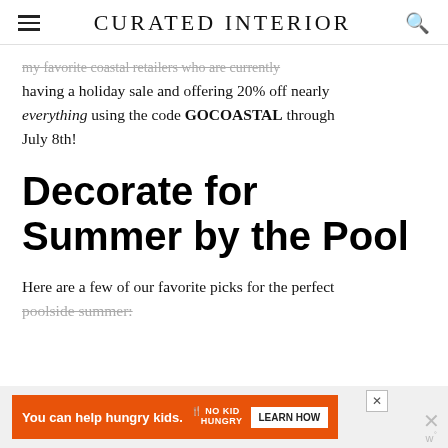CURATED INTERIOR
my favorite coastal retailers who are currently having a holiday sale and offering 20% off nearly everything using the code GOCOASTAL through July 8th!
Decorate for Summer by the Pool
Here are a few of our favorite picks for the perfect poolside summer:
[Figure (other): Orange advertisement banner: 'You can help hungry kids.' No Kid Hungry logo, LEARN HOW button, close X button]